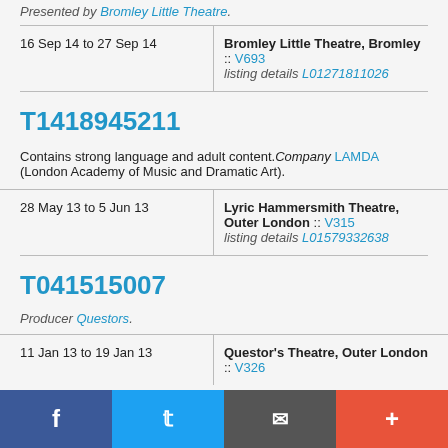Presented by Bromley Little Theatre.
| Date | Venue |
| --- | --- |
| 16 Sep 14 to 27 Sep 14 | Bromley Little Theatre, Bromley :: V693
listing details L01271811026 |
T1418945211
Contains strong language and adult content. Company LAMDA (London Academy of Music and Dramatic Art).
| Date | Venue |
| --- | --- |
| 28 May 13 to 5 Jun 13 | Lyric Hammersmith Theatre, Outer London :: V315
listing details L01579332638 |
T041515007
Producer Questors.
| Date | Venue |
| --- | --- |
| 11 Jan 13 to 19 Jan 13 | Questor's Theatre, Outer London :: V326 |